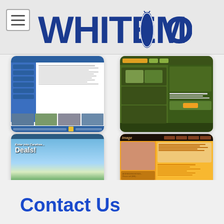WhiteMor
[Figure (screenshot): Blue business website with navigation sidebar and photo strip at bottom]
[Figure (screenshot): Green website with olive/dark green theme and sidebar content blocks]
[Figure (screenshot): Travel website with beach hero image, Deals! text, and thumbnail photos at bottom]
[Figure (screenshot): Image beauty/spa website with orange theme, face photo, and service listings]
Contact Us